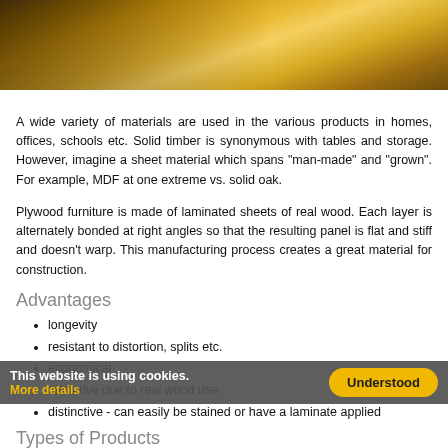[Figure (photo): Photo of wooden furniture/plywood stacked panels with warm golden-brown tones]
A wide variety of materials are used in the various products in homes, offices, schools etc. Solid timber is synonymous with tables and storage. However, imagine a sheet material which spans "man-made" and "grown". For example, MDF at one extreme vs. solid oak.
Plywood furniture is made of laminated sheets of real wood. Each layer is alternately bonded at right angles so that the resulting panel is flat and stiff and doesn’t warp. This manufacturing process creates a great material for construction.
Advantages
longevity
resistant to distortion, splits etc.
economical
attractive due to real wood use
distinctive - can easily be stained or have a laminate applied
Types of Products
The a... ply ...at proposition whe...out a space. Where previously designers and makers have sought to disguise the inherent